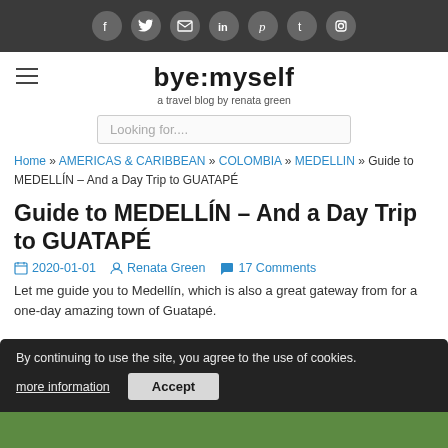Social media icons bar: facebook, twitter, email, linkedin, pinterest, tumblr, instagram
bye:myself
a travel blog by renata green
Looking for....
Home » AMERICAS & CARIBBEAN » COLOMBIA » MEDELLIN » Guide to MEDELLÍN – And a Day Trip to GUATAPÉ
Guide to MEDELLÍN – And a Day Trip to GUATAPÉ
2020-01-01   Renata Green   17 Comments
Let me guide you to Medellín, which is also a great gateway from for a one-day amazing town of Guatapé.
By continuing to use the site, you agree to the use of cookies.
more information   Accept